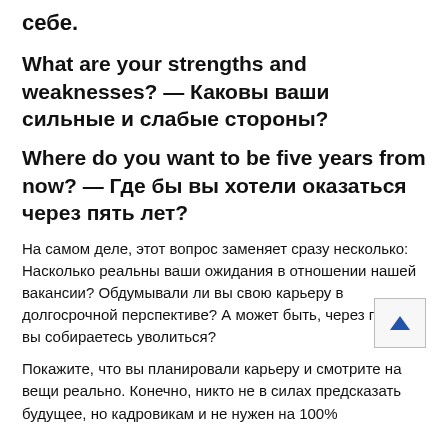себе.
What are your strengths and weaknesses? — Каковы ваши сильные и слабые стороны?
Where do you want to be five years from now? — Где бы вы хотели оказаться через пять лет?
На самом деле, этот вопрос заменяет сразу несколько: Насколько реальны ваши ожидания в отношении нашей вакансии? Обдумывали ли вы свою карьеру в долгосрочной перспективе? А может быть, через год-два вы собираетесь уволиться?
Покажите, что вы планировали карьеру и смотрите на вещи реально. Конечно, никто не в силах предсказать будущее, но кадровикам и не нужен на 100%